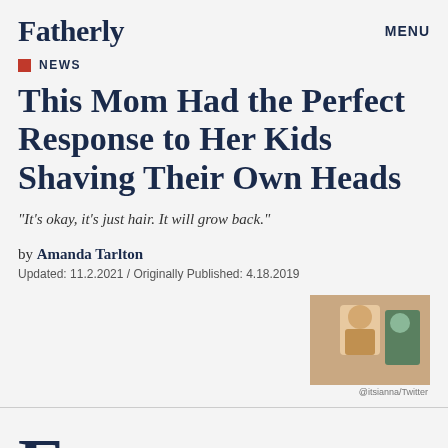Fatherly   MENU
NEWS
This Mom Had the Perfect Response to Her Kids Shaving Their Own Heads
"It's okay, it's just hair. It will grow back."
by Amanda Tarlton
Updated: 11.2.2021 / Originally Published: 4.18.2019
[Figure (photo): Photo of a woman with blonde hair and another person, with caption @itsianna/Twitter]
@itsianna/Twitter
ight minutes. That's all it took for